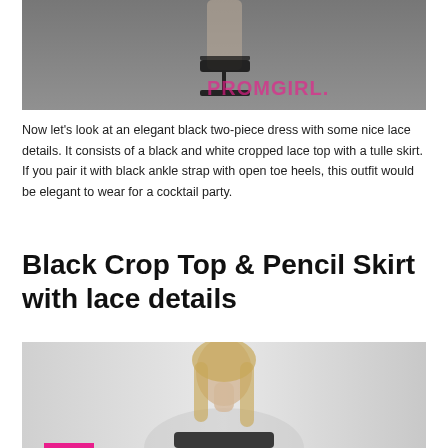[Figure (photo): Close-up of legs/feet wearing black ankle strap open toe heels on a gray background, with pink PROMGIRL watermark logo visible]
Now let's look at an elegant black two-piece dress with some nice lace details. It consists of a black and white cropped lace top with a tulle skirt. If you pair it with black ankle strap with open toe heels, this outfit would be elegant to wear for a cocktail party.
Black Crop Top & Pencil Skirt with lace details
[Figure (photo): Young blonde woman wearing a black crop top, photographed from the waist up against a light gray background]